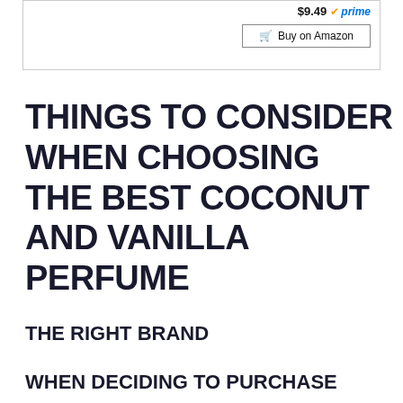[Figure (screenshot): Product listing box with price $9.49, Prime badge, and Buy on Amazon button]
THINGS TO CONSIDER WHEN CHOOSING THE BEST COCONUT AND VANILLA PERFUME
THE RIGHT BRAND
WHEN DECIDING TO PURCHASE